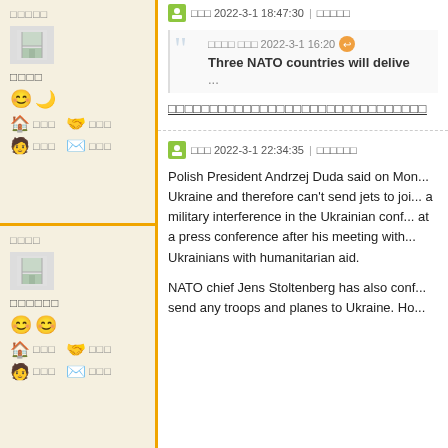□□□□□
□□□□
2022-3-1 18:47:30 | □□□□□
□□□□ □□□ 2022-3-1 16:20 Three NATO countries will delive...
□□□□□□□□□□□□□□□□□□□□□□□□□□□□□□
□□□□
□□□□□□
□□□ 2022-3-1 22:34:35 | □□□□□□
Polish President Andrzej Duda said on Mon... Ukraine and therefore can't send jets to joi... a military interference in the Ukrainian conf... at a press conference after his meeting with... Ukrainians with humanitarian aid.
NATO chief Jens Stoltenberg has also conf... send any troops and planes to Ukraine. Ho...